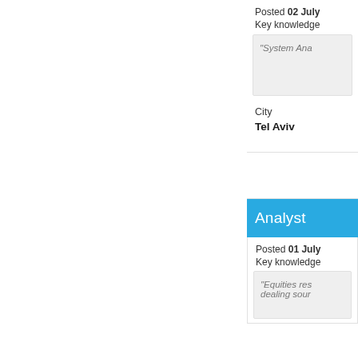Posted 02 July
Key knowledge
"System Ana
City
Tel Aviv
Analyst
Posted 01 July
Key knowledge
"Equities res dealing sour